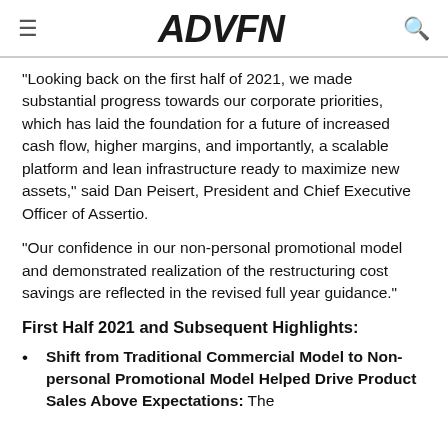ADVFN
“Looking back on the first half of 2021, we made substantial progress towards our corporate priorities, which has laid the foundation for a future of increased cash flow, higher margins, and importantly, a scalable platform and lean infrastructure ready to maximize new assets,” said Dan Peisert, President and Chief Executive Officer of Assertio.
“Our confidence in our non-personal promotional model and demonstrated realization of the restructuring cost savings are reflected in the revised full year guidance.”
First Half 2021 and Subsequent Highlights:
Shift from Traditional Commercial Model to Non-personal Promotional Model Helped Drive Product Sales Above Expectations: The